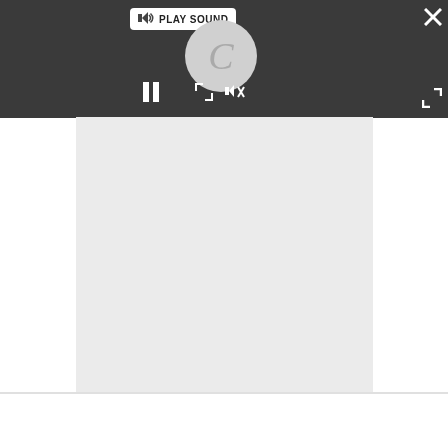[Figure (screenshot): Video player overlay with dark background bar. Shows a circular loading/replay icon with a 'C' symbol in gray, a PLAY SOUND button with speaker icon, pause button (two vertical bars), mute button, expand/collapse arrows, close X button top-right, and expand arrows bottom-right.]
Advertisement
[Figure (other): Light gray advertisement placeholder area]